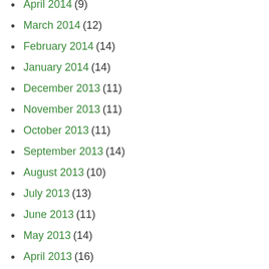April 2014 (9)
March 2014 (12)
February 2014 (14)
January 2014 (14)
December 2013 (11)
November 2013 (11)
October 2013 (11)
September 2013 (14)
August 2013 (10)
July 2013 (13)
June 2013 (11)
May 2013 (14)
April 2013 (16)
March 2013 (16)
February 2013 (13)
January 2013 (14)
December 2012 (9)
November 2012 (11)
October 2012 (17)